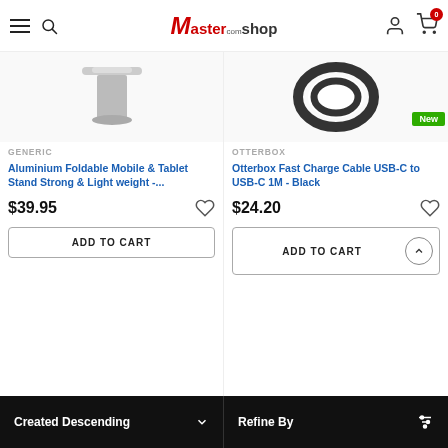Mastershop.com.au navigation header
[Figure (screenshot): Partial product image of Aluminium Foldable Mobile & Tablet Stand, silver/grey stand visible from top]
GENERIC
Aluminium Foldable Mobile & Tablet Stand Strong & Light weight -...
$39.95
ADD TO CART
[Figure (screenshot): Partial product image of Otterbox Fast Charge Cable USB-C to USB-C 1M, black cable coiled]
OTTERBOX
Otterbox Fast Charge Cable USB-C to USB-C 1M - Black
$24.20
ADD TO CART
New
Created Descending | Refine By